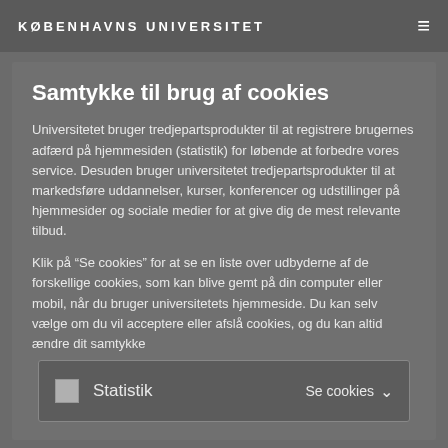KØBENHAVNS UNIVERSITET
Samtykke til brug af cookies
Universitetet bruger tredjepartsprodukter til at registrere brugernes adfærd på hjemmesiden (statistik) for løbende at forbedre vores service. Desuden bruger universitetet tredjepartsprodukter til at markedsføre uddannelser, kurser, konferencer og udstillinger på hjemmesider og sociale medier for at give dig de mest relevante tilbud.
Klik på "Se cookies" for at se en liste over udbyderne af de forskellige cookies, som kan blive gemt på din computer eller mobil, når du bruger universitetets hjemmeside. Du kan selv vælge om du vil acceptere eller afslå cookies, og du kan altid ændre dit samtykke
Statistik   Se cookies